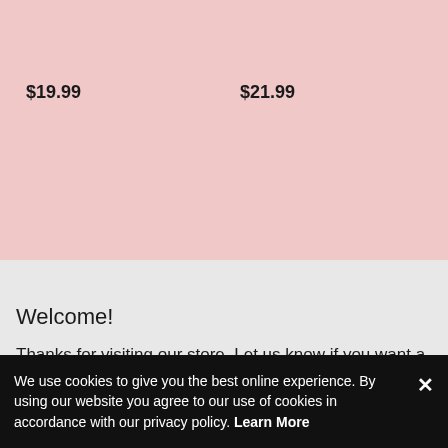[Figure (other): Pink background product listing area showing two price labels: $19.99 on the left and $21.99 on the right]
$19.99
$21.99
Welcome!
Thanks for visiting our store. Let us know if you want a custom
We use cookies to give you the best online experience. By using our website you agree to our use of cookies in accordance with our privacy policy. Learn More